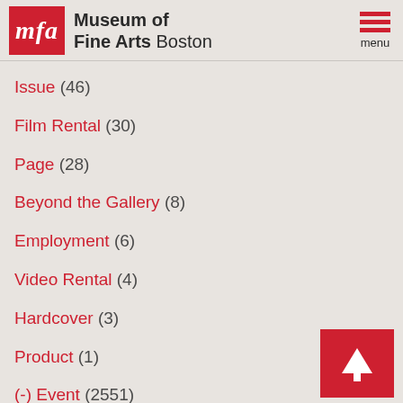Museum of Fine Arts Boston
Issue (46)
Film Rental (30)
Page (28)
Beyond the Gallery (8)
Employment (6)
Video Rental (4)
Hardcover (3)
Product (1)
(-) Event (2551)
(-) Press Release (319)
(-) Article (287)
[Figure (other): Back to top arrow button, red square with white upward arrow]